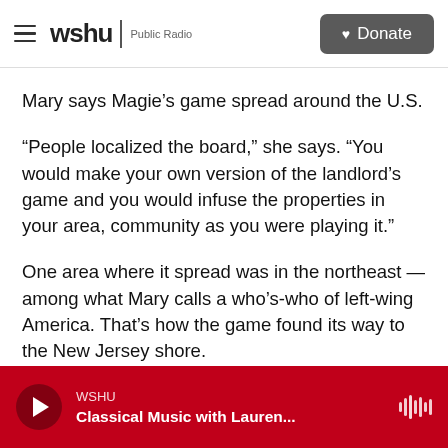wshu | Public Radio  Donate
Mary says Magie’s game spread around the U.S.
“People localized the board,” she says. “You would make your own version of the landlord’s game and you would infuse the properties in your area, community as you were playing it.”
One area where it spread was in the northeast — among what Mary calls a who’s-who of left-wing America. That’s how the game found its way to the New Jersey shore.
“And Atlantic City in the late 1920s and early 1930s
WSHU  Classical Music with Lauren...